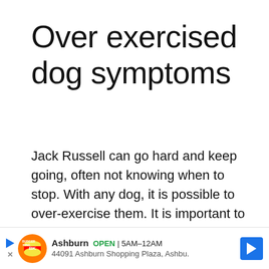Over exercised dog symptoms
Jack Russell can go hard and keep going, often not knowing when to stop. With any dog, it is possible to over-exercise them. It is important to be aware of the signs and symptoms of a dog that has overdone it. Read “Overexercised dog symptoms” to learn more.
Jack Russell puppy
[Figure (other): Burger King advertisement banner showing logo, Ashburn location open 5AM-12AM at 44091 Ashburn Shopping Plaza, with navigation arrow icon]